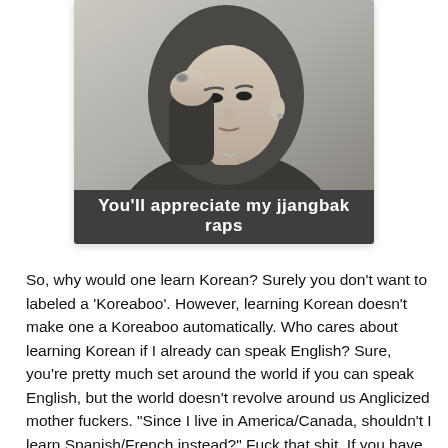[Figure (photo): Black and white photo of a young man in a dark hoodie, holding his fist near his face wearing a ring, looking to the side. Below the photo is a caption overlay reading 'You'll appreciate my jjangbak raps' in bold white Impact font on dark background.]
So, why would one learn Korean? Surely you don't want to labeled a 'Koreaboo'. However, learning Korean doesn't make one a Koreaboo automatically. Who cares about learning Korean if I already can speak English? Sure, you're pretty much set around the world if you can speak English, but the world doesn't revolve around us Anglicized mother fuckers. "Since I live in America/Canada, shouldn't I learn Spanish/French instead?" Fuck that shit. If you have no interest in a language, learning it will be more difficult than listening to idol raps. "Isn't a waste of time to learn another language?" Well, sure. However, it's a waste of time to do anything since we'll all die one day. So who the fuck cares what someone else would say about you learning a